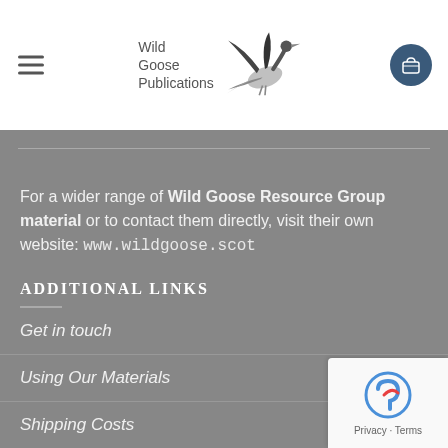[Figure (logo): Wild Goose Publications logo with flying goose illustration and text]
For a wider range of Wild Goose Resource Group material or to contact them directly, visit their own website: www.wildgoose.scot
ADDITIONAL LINKS
Get in touch
Using Our Materials
Shipping Costs
FAQ